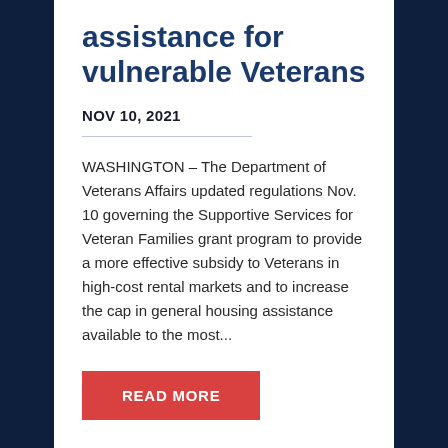assistance for vulnerable Veterans
NOV 10, 2021
WASHINGTON – The Department of Veterans Affairs updated regulations Nov. 10 governing the Supportive Services for Veteran Families grant program to provide a more effective subsidy to Veterans in high-cost rental markets and to increase the cap in general housing assistance available to the most...
READ MORE